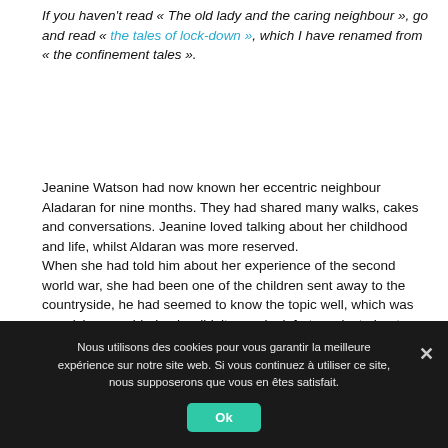If you haven't read « The old lady and the caring neighbour », go and read « the tales of lock-down », which I have renamed from « the confinement tales ».
Jeanine Watson had now known her eccentric neighbour Aladaran for nine months. They had shared many walks, cakes and conversations. Jeanine loved talking about her childhood and life, whilst Aldaran was more reserved. When she had told him about her experience of the second world war, she had been one of the children sent away to the countryside, he had seemed to know the topic well, which was surprising considering he didn't even look forty, or just about. Jeanine thought he must have studied it so well that it gave him the impression that he had lived it. Aldaran had in fact experienced that war in his childhood as well, even
Nous utilisons des cookies pour vous garantir la meilleure expérience sur notre site web. Si vous continuez à utiliser ce site, nous supposerons que vous en êtes satisfait.